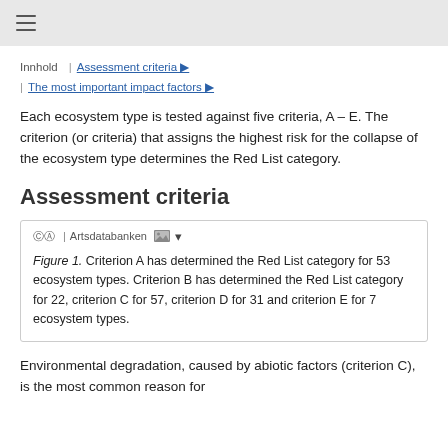≡
Innhold | Assessment criteria ▶ | The most important impact factors ▶
Each ecosystem type is tested against five criteria, A – E. The criterion (or criteria) that assigns the highest risk for the collapse of the ecosystem type determines the Red List category.
Assessment criteria
Figure 1. Criterion A has determined the Red List category for 53 ecosystem types. Criterion B has determined the Red List category for 22, criterion C for 57, criterion D for 31 and criterion E for 7 ecosystem types.
Environmental degradation, caused by abiotic factors (criterion C), is the most common reason for ecosystem types being redlisted (Figure 1). Thi